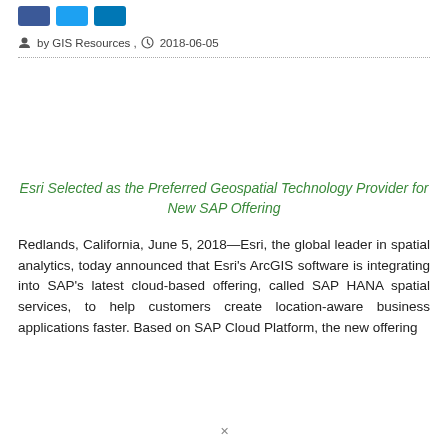[Figure (other): Social media sharing buttons: Facebook (blue), Twitter (light blue), LinkedIn (dark blue)]
by GIS Resources , 2018-06-05
Esri Selected as the Preferred Geospatial Technology Provider for New SAP Offering
Redlands, California, June 5, 2018—Esri, the global leader in spatial analytics, today announced that Esri's ArcGIS software is integrating into SAP's latest cloud-based offering, called SAP HANA spatial services, to help customers create location-aware business applications faster. Based on SAP Cloud Platform, the new offering